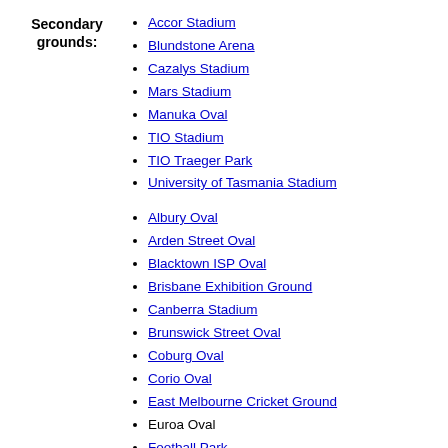Sydney Cricket Ground
Secondary grounds:
Accor Stadium
Blundstone Arena
Cazalys Stadium
Mars Stadium
Manuka Oval
TIO Stadium
TIO Traeger Park
University of Tasmania Stadium
Albury Oval
Arden Street Oval
Blacktown ISP Oval
Brisbane Exhibition Ground
Canberra Stadium
Brunswick Street Oval
Coburg Oval
Corio Oval
East Melbourne Cricket Ground
Euroa Oval
Football Park
Glenferrie Oval
Jiangwan Stadium (China)
Junction Oval
Lake Oval